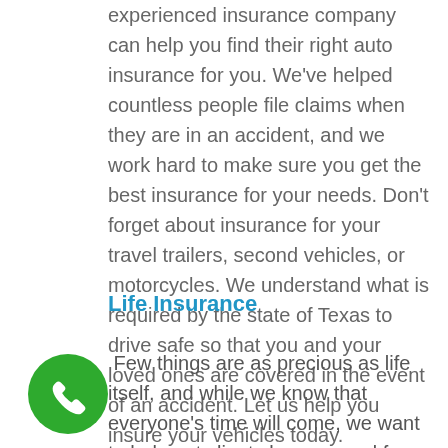experienced insurance company can help you find their right auto insurance for you. We've helped countless people file claims when they are in an accident, and we work hard to make sure you get the best insurance for your needs. Don't forget about insurance for your travel trailers, second vehicles, or motorcycles. We understand what is required by the state of Texas to drive safe so that you and your loved ones are covered in the event of an accident. Let us help you insure your vehicles today.
Life Insurance
Few things are as precious as life itself, and while we know that everyone's time will come, we want to help out clients be prepared for life's unexpected turns. Our life insurance policies offer a wide range of solutions packages for clients in the Humble, Kingwood, Houston, Texas areas. Being able to leave behind peace of mind for your family is important; making
[Figure (other): Green circular phone/call button icon in the bottom left corner of the page]